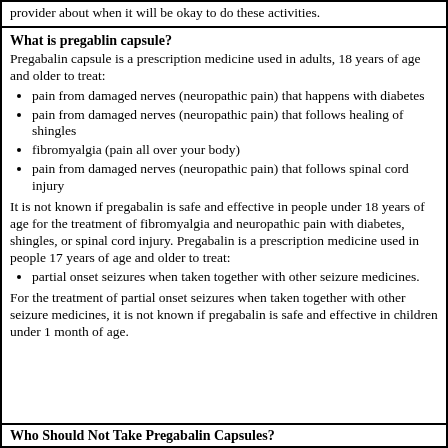provider about when it will be okay to do these activities.
What is pregablin capsule?
Pregabalin capsule is a prescription medicine used in adults, 18 years of age and older to treat:
pain from damaged nerves (neuropathic pain) that happens with diabetes
pain from damaged nerves (neuropathic pain) that follows healing of shingles
fibromyalgia (pain all over your body)
pain from damaged nerves (neuropathic pain) that follows spinal cord injury
It is not known if pregabalin is safe and effective in people under 18 years of age for the treatment of fibromyalgia and neuropathic pain with diabetes, shingles, or spinal cord injury. Pregabalin is a prescription medicine used in people 17 years of age and older to treat:
partial onset seizures when taken together with other seizure medicines.
For the treatment of partial onset seizures when taken together with other seizure medicines, it is not known if pregabalin is safe and effective in children under 1 month of age.
Who Should Not Take Pregabalin Capsules?